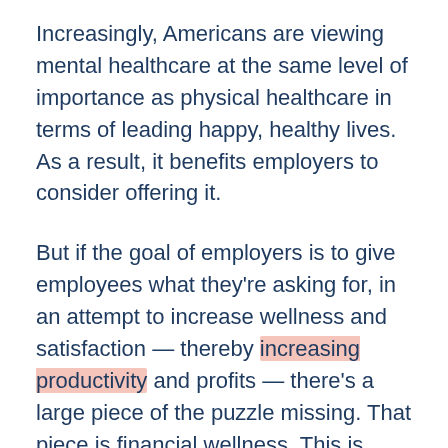Increasingly, Americans are viewing mental healthcare at the same level of importance as physical healthcare in terms of leading happy, healthy lives. As a result, it benefits employers to consider offering it.
But if the goal of employers is to give employees what they're asking for, in an attempt to increase wellness and satisfaction — thereby increasing productivity and profits — there's a large piece of the puzzle missing. That piece is financial wellness. This is because when employees are financially stressed, that stress can undercut all the physical and mental wellness employers invest in.